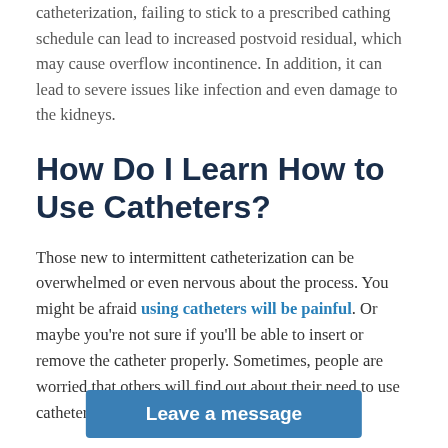catheterization, failing to stick to a prescribed cathing schedule can lead to increased postvoid residual, which may cause overflow incontinence. In addition, it can lead to severe issues like infection and even damage to the kidneys.
How Do I Learn How to Use Catheters?
Those new to intermittent catheterization can be overwhelmed or even nervous about the process. You might be afraid using catheters will be painful. Or maybe you're not sure if you'll be able to insert or remove the catheter properly. Sometimes, people are worried that others will find out about their need to use catheters.
However, when it comes to your need for using catheters, you should rely [on your doctor] first and foremost. They [will show you the proper] way to use
[Figure (other): Blue 'Leave a message' call-to-action button overlay at the bottom of the page]